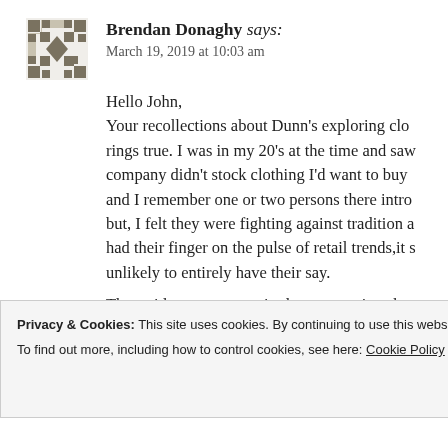Brendan Donaghy says: March 19, 2019 at 10:03 am
Hello John, Your recollections about Dunn's exploring clo rings true. I was in my 20's at the time and sa company didn't stock clothing I'd want to buy and I remember one or two persons there intro but, I felt they were fighting against tradition a had their finger on the pulse of retail trends,it s unlikely to entirely have their say. That said, we were required to wear suits whe
Privacy & Cookies: This site uses cookies. By continuing to use this website, you agree to their use. To find out more, including how to control cookies, see here: Cookie Policy
Close and accept